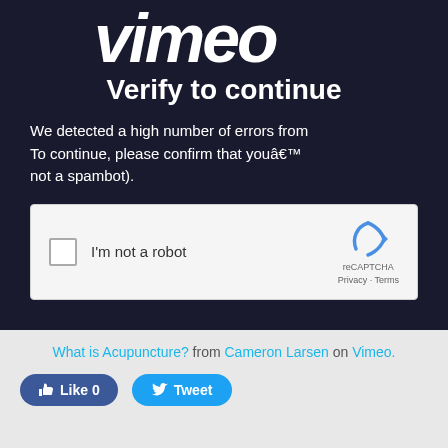[Figure (logo): Vimeo logo in white italic text on dark navy background]
Verify to continue
We detected a high number of errors from your connection. To continue, please confirm that youâre a human (and not a spambot).
[Figure (screenshot): reCAPTCHA widget with checkbox 'I'm not a robot' and reCAPTCHA logo with Privacy - Terms links]
What is Acupuncture? from Cameron Larsen on Vimeo.
Like 0   Tweet